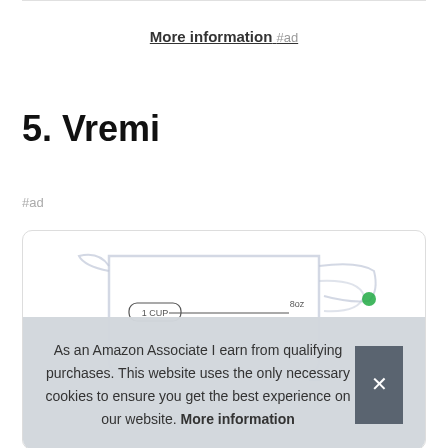More information #ad
5. Vremi
#ad
[Figure (photo): Product photo of a Vremi glass measuring cup showing 1 CUP and 8oz markings with a green spout]
As an Amazon Associate I earn from qualifying purchases. This website uses the only necessary cookies to ensure you get the best experience on our website. More information